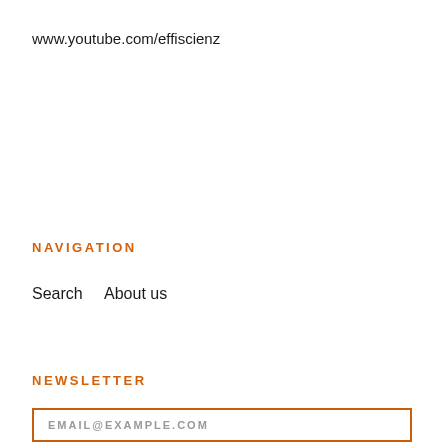www.youtube.com/effiscienz
NAVIGATION
Search    About us
NEWSLETTER
EMAIL@EXAMPLE.COM